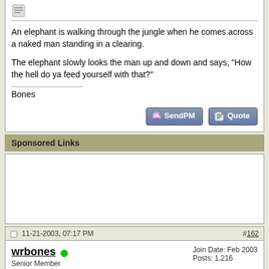An elephant is walking through the jungle when he comes across a naked man standing in a clearing.

The elephant slowly looks the man up and down and says, "How the hell do ya feed yourself with that?"
Bones
Sponsored Links
11-21-2003, 07:17 PM  #162
wrbones
Senior Member
Join Date: Feb 2003
Posts: 1,216
A guy walks into a bar, sits down, and asks, "Hey bartender...